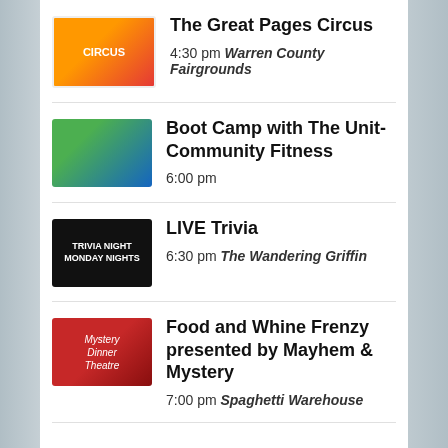The Great Pages Circus
4:30 pm Warren County Fairgrounds
Boot Camp with The Unit-Community Fitness
6:00 pm
LIVE Trivia
6:30 pm The Wandering Griffin
Food and Whine Frenzy presented by Mayhem & Mystery
7:00 pm Spaghetti Warehouse